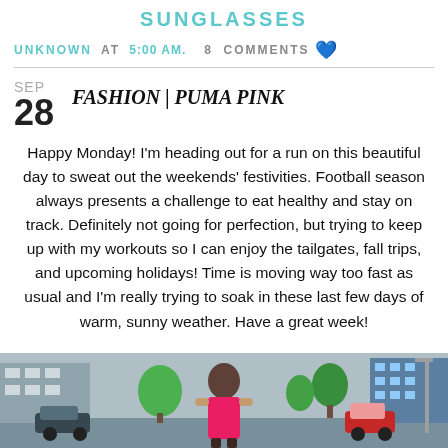SUNGLASSES
UNKNOWN AT 5:00 AM.  8 COMMENTS
SEP 28  FASHION | PUMA PINK
Happy Monday! I'm heading out for a run on this beautiful day to sweat out the weekends' festivities. Football season always presents a challenge to eat healthy and stay on track. Definitely not going for perfection, but trying to keep up with my workouts so I can enjoy the tailgates, fall trips, and upcoming holidays! Time is moving way too fast as usual and I'm really trying to soak in these last few days of warm, sunny weather. Have a great week!
[Figure (photo): A woman in athletic wear outdoors with trees and buildings in the background]